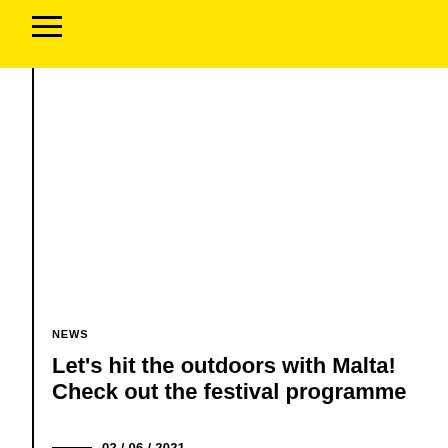NEWS
Let's hit the outdoors with Malta! Check out the festival programme
02 / 06 / 2021